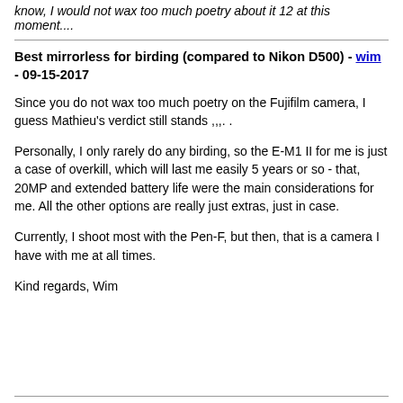know, I would not wax too much poetry about it 12 at this moment....
Best mirrorless for birding (compared to Nikon D500) - wim - 09-15-2017
Since you do not wax too much poetry on the Fujifilm camera, I guess Mathieu's verdict still stands ,,,. .
Personally, I only rarely do any birding, so the E-M1 II for me is just a case of overkill, which will last me easily 5 years or so - that, 20MP and extended battery life were the main considerations for me. All the other options are really just extras, just in case.
Currently, I shoot most with the Pen-F, but then, that is a camera I have with me at all times.
Kind regards, Wim